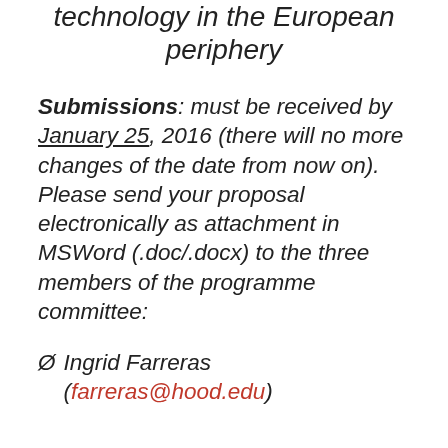technology in the European periphery
Submissions: must be received by January 25, 2016 (there will no more changes of the date from now on). Please send your proposal electronically as attachment in MSWord (.doc/.docx) to the three members of the programme committee:
Ø  Ingrid Farreras (farreras@hood.edu)